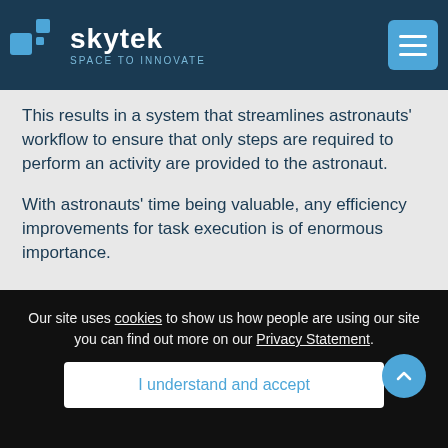skytek — SPACE TO INNOVATE
This results in a system that streamlines astronauts' workflow to ensure that only steps are required to perform an activity are provided to the astronaut.
With astronauts' time being valuable, any efficiency improvements for task execution is of enormous importance.
What XTP offers:
Our site uses cookies to show us how people are using our site you can find out more on our Privacy Statement.
I understand and accept